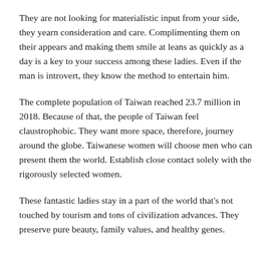They are not looking for materialistic input from your side, they yearn consideration and care. Complimenting them on their appears and making them smile at leans as quickly as a day is a key to your success among these ladies. Even if the man is introvert, they know the method to entertain him.
The complete population of Taiwan reached 23.7 million in 2018. Because of that, the people of Taiwan feel claustrophobic. They want more space, therefore, journey around the globe. Taiwanese women will choose men who can present them the world. Establish close contact solely with the rigorously selected women.
These fantastic ladies stay in a part of the world that's not touched by tourism and tons of civilization advances. They preserve pure beauty, family values, and healthy genes.